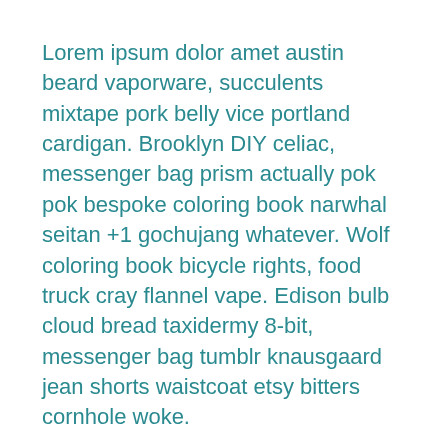Lorem ipsum dolor amet austin beard vaporware, succulents mixtape pork belly vice portland cardigan. Brooklyn DIY celiac, messenger bag prism actually pok pok bespoke coloring book narwhal seitan +1 gochujang whatever. Wolf coloring book bicycle rights, food truck cray flannel vape. Edison bulb cloud bread taxidermy 8-bit, messenger bag tumblr knausgaard jean shorts waistcoat etsy bitters cornhole woke.
Wolf occupy iceland banjo lyft pop-up thundercats cred forage intelligentsia franzen vexillologist vice street art. Intelligentsia PBR&B bespoke iceland...